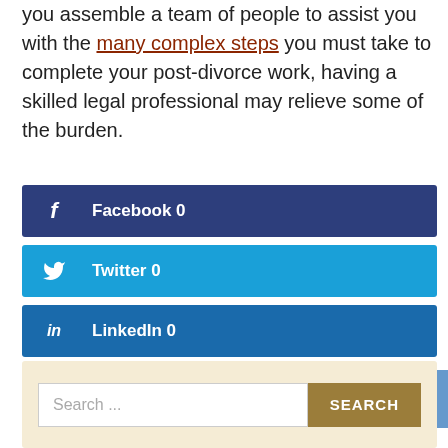you assemble a team of people to assist you with the many complex steps you must take to complete your post-divorce work, having a skilled legal professional may relieve some of the burden.
[Figure (infographic): Social share buttons: Facebook 0, Twitter 0, LinkedIn 0]
[Figure (screenshot): Search bar with text 'Search ...' and a SEARCH button]